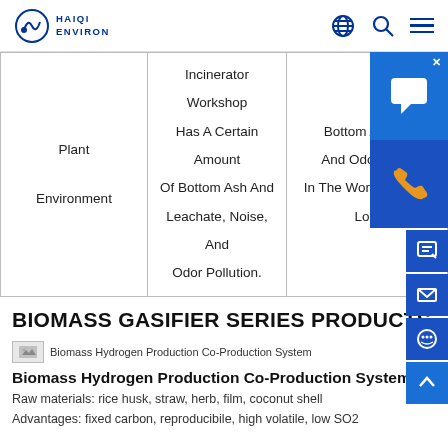HAIQI ENVIRON
|  |  |  |
| --- | --- | --- |
| Plant Environment | Incinerator Workshop Has A Certain Amount Of Bottom Ash And Leachate, Noise, And Odor Pollution. | Bottom Ash, N... And Odor Pollu... In The Workshop Are Low |
BIOMASS GASIFIER SERIES PRODUCTS
[Figure (photo): Biomass Hydrogen Production Co-Production System product image thumbnail]
Biomass Hydrogen Production Co-Production System
Raw materials: rice husk, straw, herb, film, coconut shell
Advantages: fixed carbon, reproducibile, high volatile, low SO2